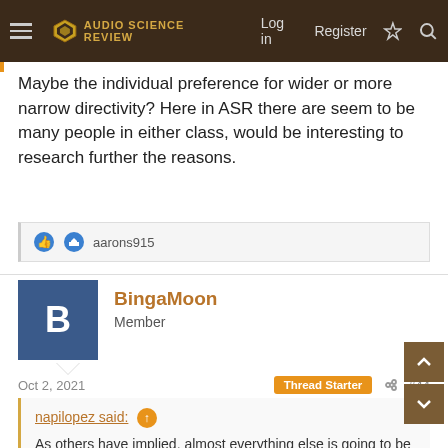Audio Science Review — Log in | Register
Maybe the individual preference for wider or more narrow directivity? Here in ASR there are seem to be many people in either class, would be interesting to research further the reasons.
aarons915
BingaMoon
Member
Oct 2, 2021
Thread Starter
#44
napilopez said:
As others have implied, almost everything else is going to be a sidegrade. Do you use room correction/subwoofers? Are the speakers you've mentioned listening speakers you've heard in your own home
Bass tuning alone can have a dramatic impact on sound, and if you